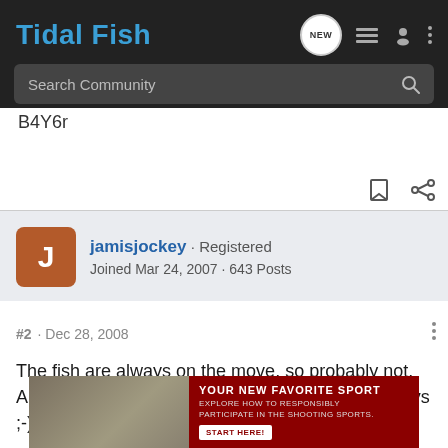Tidal Fish
Search Community
B4Y6r
jamisjockey · Registered
Joined Mar 24, 2007 · 643 Posts
#2 · Dec 28, 2008
The fish are always on the move, so probably not. And the locals all know where to catch 'em anyways ;-)
[Figure (screenshot): Advertisement banner: photo of people on left, dark red background with text 'YOUR NEW FAVORITE SPORT - EXPLORE HOW TO RESPONSIBLY PARTICIPATE IN THE SHOOTING SPORTS.' with 'START HERE!' button]